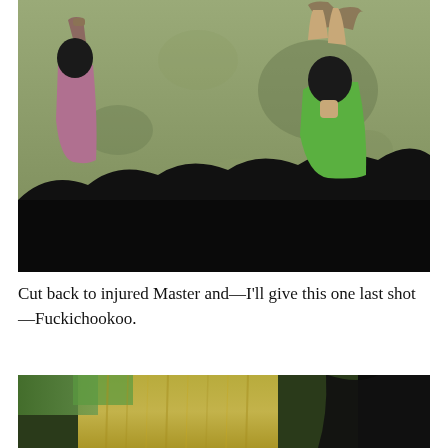[Figure (photo): A scene showing two people against a concrete wall, one on the left in a pink/mauve top with arms raised and bound, one on the right in a bright green top with arms raised above head, surrounded by dark figures in the foreground.]
Cut back to injured Master and—I'll give this one last shot—Fuckichookoo.
[Figure (photo): Partial view of a scene with bright gold/yellow and green tones, dark figure visible on the right side, appears to be a continuation of the same film sequence.]